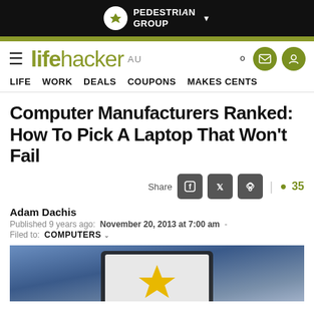PEDESTRIAN GROUP
lifehacker AU — LIFE  WORK  DEALS  COUPONS  MAKES CENTS
Computer Manufacturers Ranked: How To Pick A Laptop That Won't Fail
Share  35
Adam Dachis
Published 9 years ago:  November 20, 2013 at 7:00 am  -
Filed to:  COMPUTERS
[Figure (photo): Hero image of a laptop computer with a gold star on the screen, blurred blue background]